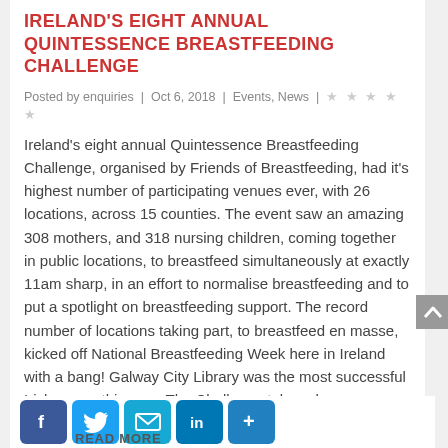IRELAND'S EIGHT ANNUAL QUINTESSENCE BREASTFEEDING CHALLENGE
Posted by enquiries | Oct 6, 2018 | Events, News | ★★★★★
Ireland's eight annual Quintessence Breastfeeding Challenge, organised by Friends of Breastfeeding, had it's highest number of participating venues ever, with 26 locations, across 15 counties. The event saw an amazing 308 mothers, and 318 nursing children, coming together in public locations, to breastfeed simultaneously at exactly 11am sharp, in an effort to normalise breastfeeding and to put a spotlight on breastfeeding support. The record number of locations taking part, to breastfeed en masse, kicked off National Breastfeeding Week here in Ireland with a bang! Galway City Library was the most successful Irish venue this year. The Challenge takes place...
READ MORE